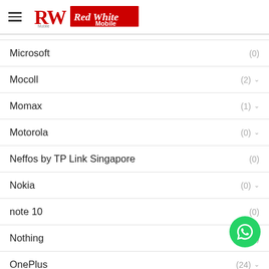Red White Mobile
Microsoft (0)
Mocoll (2)
Momax (1)
Motorola (0)
Neffos by TP Link Singapore (0)
Nokia (0)
note 10 (0)
Nothing (3)
OnePlus (24)
Oppo (31)